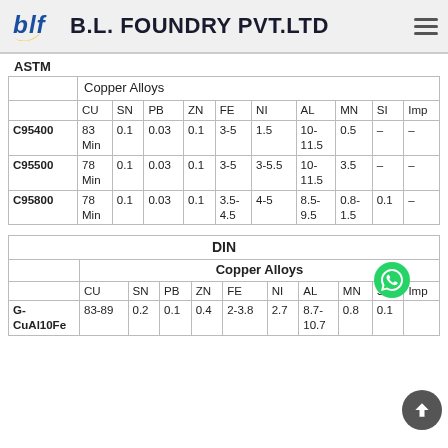B.L. FOUNDRY PVT.LTD
|  | Copper Alloys |  |  |  |  |  |  |  |  |  |
| --- | --- | --- | --- | --- | --- | --- | --- | --- | --- | --- |
|  | CU | SN | PB | ZN | FE | NI | AL | MN | SI | Imp |
| C95400 | 83 Min | 0.1 | 0.03 | 0.1 | 3-5 | 1.5 | 10-11.5 | 0.5 | – | – |
| C95500 | 78 Min | 0.1 | 0.03 | 0.1 | 3-5 | 3-5.5 | 10-11.5 | 3.5 | – | – |
| C95800 | 78 Min | 0.1 | 0.03 | 0.1 | 3.5-4.5 | 4-5 | 8.5-9.5 | 0.8-1.5 | 0.1 | – |
| DIN |  |  |  |  |  |  |  |  |  |  |
| --- | --- | --- | --- | --- | --- | --- | --- | --- | --- | --- |
|  | Copper Alloys |  |  |  |  |  |  |  |  |  |
|  | CU | SN | PB | ZN | FE | NI | AL | MN | SI | Imp |
| G-CuAl10Fe | 83-89 | 0.2 | 0.1 | 0.4 | 2-3.8 | 2.7 | 8.7-10.7 | 0.8 | 0.1 |  |